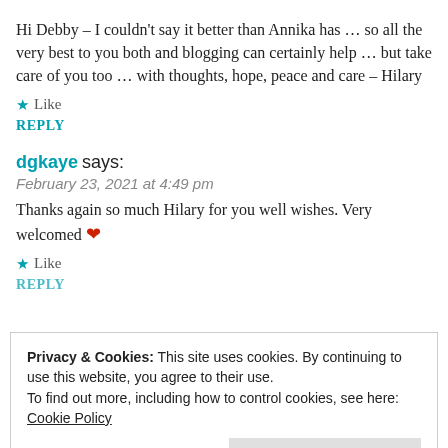Hi Debby – I couldn't say it better than Annika has … so all the very best to you both and blogging can certainly help … but take care of you too … with thoughts, hope, peace and care – Hilary
★ Like
REPLY
dgkaye says:
February 23, 2021 at 4:49 pm
Thanks again so much Hilary for you well wishes. Very welcomed ❤
★ Like
REPLY
Privacy & Cookies: This site uses cookies. By continuing to use this website, you agree to their use.
To find out more, including how to control cookies, see here: Cookie Policy
Close and accept
news, warmth, and smile. Hang in there. I'm heading over to